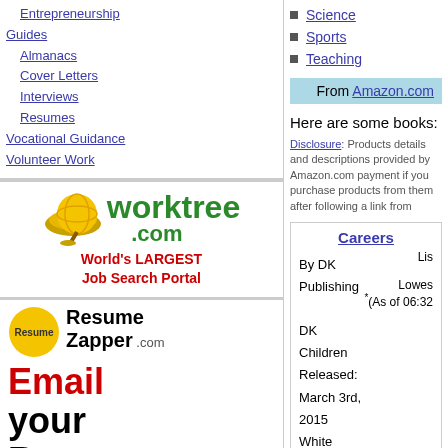Entrepreneurship
Guides
Almanacs
Cover Letters
Interviews
Resumes
Vocational Guidance
Volunteer Work
[Figure (logo): worktree.com logo with green text and yellow globe icon. World's LARGEST Job Search Portal tagline in red.]
[Figure (logo): ResumeZapper.com ad - Email your Resume to]
Science
Sports
Teaching
From Amazon.com
Here are some books:
Disclosure: Products details and descriptions provided by Amazon.com payment if you purchase products from them after following a link from
Careers
By DK Publishing
Lis
DK Children
Released: March 3rd, 2015
White Paperback (320 pages)
Lowes
*(As of 06:32
[Figure (photo): Book cover for Careers: The Ultimate Guide to Planning Your Future by DK Publishing, showing colorful career icons in grid layout]